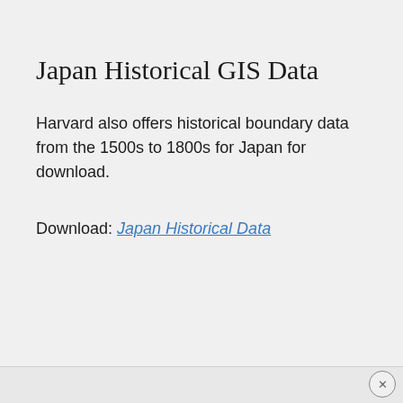Japan Historical GIS Data
Harvard also offers historical boundary data from the 1500s to 1800s for Japan for download.
Download: Japan Historical Data